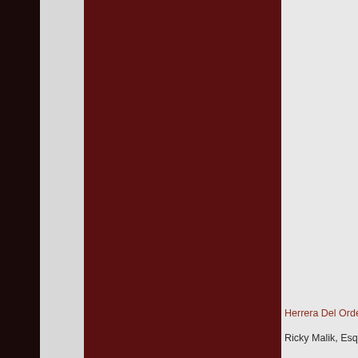[Figure (photo): Large dark brown rectangular image occupying center-left of the page, showing a person or dark background.]
Herrera Del Orden
Ricky Malik, Esq.
www.rmlegal.com
Continue reading "R... allowed" »
November 12, 2011
Waivers: Th...
Posted By Ricky Mal...